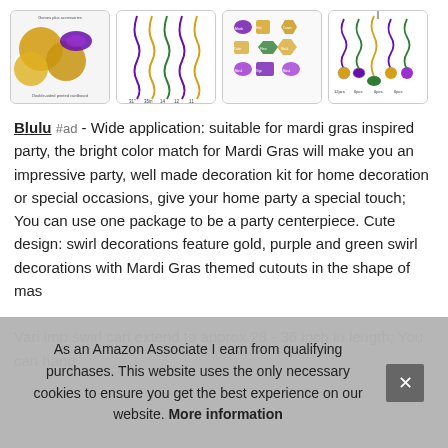[Figure (photo): Four thumbnail product images of Mardi Gras party decorations: plates with masks, hanging swirl decorations, cutout icons sheet, and swirl decorations hanging display.]
Blulu #ad - Wide application: suitable for mardi gras inspired party, the bright color match for Mardi Gras will make you an impressive party, well made decoration kit for home decoration or special occasions, give your home party a special touch; You can use one package to be a party centerpiece. Cute design: swirl decorations feature gold, purple and green swirl decorations with Mardi Gras themed cutouts in the shape of mas[k...] Vari[ety...] imp[ressive...] swirl can extend to approx 28 - 36 inch in length; You can hang
As an Amazon Associate I earn from qualifying purchases. This website uses the only necessary cookies to ensure you get the best experience on our website. More information